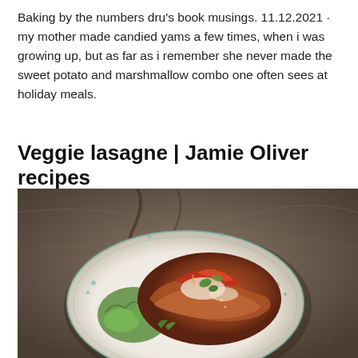Baking by the numbers dru's book musings. 11.12.2021 · my mother made candied yams a few times, when i was growing up, but as far as i remember she never made the sweet potato and marshmallow combo one often sees at holiday meals.
Veggie lasagne | Jamie Oliver recipes
[Figure (photo): Overhead photo of a veggie lasagne served on a white plate with green floral pattern, garnished with fresh basil and green salad leaves, with tomato sauce on top, on a rustic stone surface.]